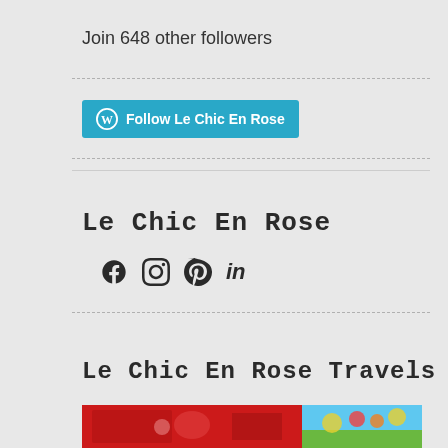Join 648 other followers
[Figure (illustration): WordPress-style Follow button with cyan background and WordPress logo icon, labeled 'Follow Le Chic En Rose']
Le Chic En Rose
[Figure (other): Social media icons: Facebook, Instagram, Pinterest, LinkedIn]
Le Chic En Rose Travels
[Figure (photo): Two thumbnail travel photos side by side: left is red interior scene, right is outdoor with colorful flowers against blue sky]